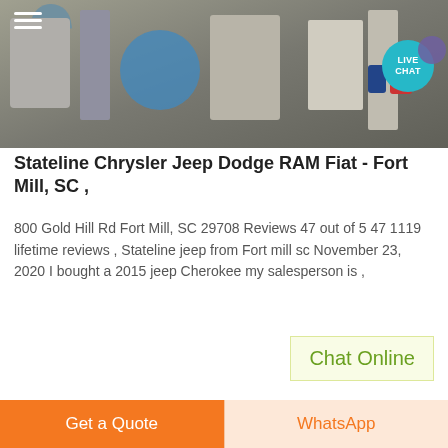[Figure (photo): Industrial machinery interior — large equipment with cylindrical components, blue drum, red and blue barrels, scaffolding. Hamburger menu icon top-left. Live Chat teal circle button top-right with purple chat bubble.]
Stateline Chrysler Jeep Dodge RAM Fiat - Fort Mill, SC ,
800 Gold Hill Rd Fort Mill, SC 29708 Reviews 47 out of 5 47 1119 lifetime reviews , Stateline jeep from Fort mill sc November 23, 2020 I bought a 2015 jeep Cherokee my salesperson is ,
Chat Online
[Figure (photo): Partial view of industrial or automotive image at bottom of page.]
Get a Quote
WhatsApp